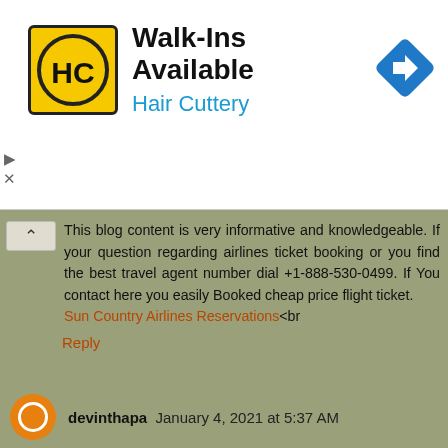[Figure (screenshot): Hair Cuttery advertisement banner with logo (HC in black circle on yellow background), 'Walk-Ins Available' in bold dark text, 'Hair Cuttery' in blue, and a blue diamond-shaped arrow icon on the right.]
This blog content is very informative and knowledgeable. If your question regarding airlines ticket booking or you find the best travel agent number dial +1-888-530-0499. If You contact here you easily Booked cheap price flight ticket. Sun Country Airlines Reservations<br
Reply
devinthapa  January 4, 2021 at 5:37 AM
Singapore Airlines Manage Booking
British Airways Manage Booking
United Airlines Manage Booking
Philippine Airlines Manage Booking
Delta Airlines Manage Booking
Turkish Airlines Manage Booking
American Airlines Manage Booking
Qatar Airways Manage Booking